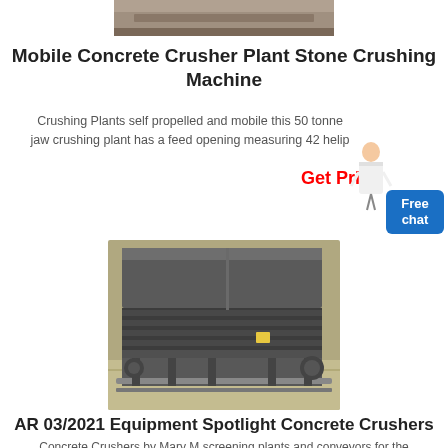[Figure (photo): Top portion of a stone crushing plant machine, partially visible.]
Mobile Concrete Crusher Plant Stone Crushing Machine
Crushing Plants self propelled and mobile this 50 tonne jaw crushing plant has a feed opening measuring 42 helip
Get Price
[Figure (photo): A large industrial concrete crusher / conveyor machine (dark grey), photographed in a warehouse or yard setting.]
AR 03/2021 Equipment Spotlight Concrete Crushers
Concrete Crushers by Mary M screening plants and conveyors for the recycling and designed for concrete recycling features